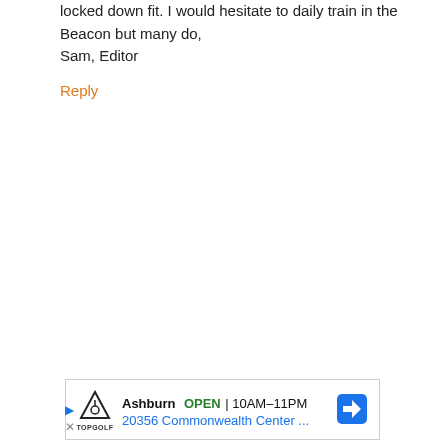locked down fit. I would hesitate to daily train in the Beacon but many do,
Sam, Editor
Reply
[Figure (screenshot): Advertisement for Topgolf Ashburn location showing OPEN status, hours 10AM-11PM, address 20356 Commonwealth Center..., with navigation icon and Topgolf logo]